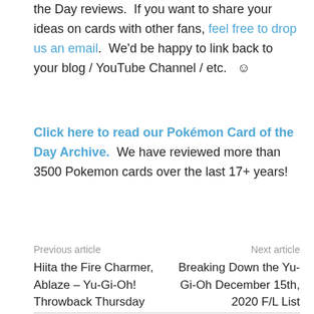the Day reviews. If you want to share your ideas on cards with other fans, feel free to drop us an email. We'd be happy to link back to your blog / YouTube Channel / etc. ☺
Click here to read our Pokémon Card of the Day Archive. We have reviewed more than 3500 Pokemon cards over the last 17+ years!
Previous article | Next article
Hiita the Fire Charmer, Ablaze – Yu-Gi-Oh! Throwback Thursday
Breaking Down the Yu-Gi-Oh December 15th, 2020 F/L List